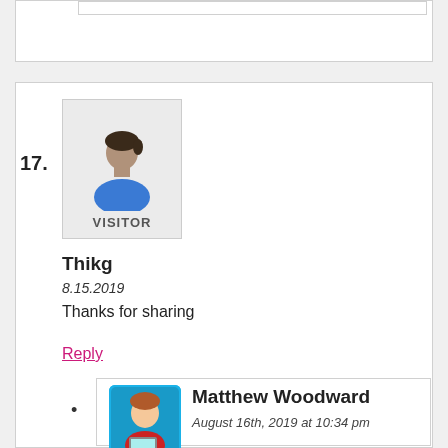17.
[Figure (illustration): Visitor avatar placeholder showing a generic blue person silhouette with VISITOR label]
Thikg
8.15.2019
Thanks for sharing
Reply
[Figure (illustration): Matthew Woodward avatar - cartoon character on cyan background with laptop, Matthew Woodward logo]
Matthew Woodward
August 16th, 2019 at 10:34 pm